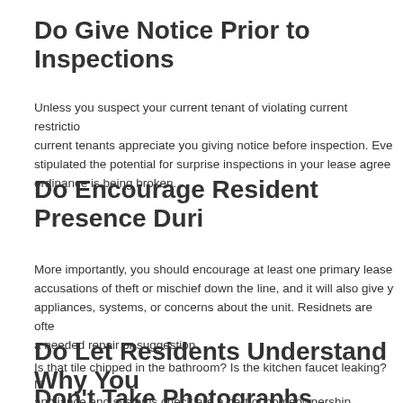Do Give Notice Prior to Inspections
Unless you suspect your current tenant of violating current restrictions, current tenants appreciate you giving notice before inspection. Even if you stipulated the potential for surprise inspections in your lease agreement, ordinance is being broken.
Do Encourage Resident Presence During
More importantly, you should encourage at least one primary leaseholder accusations of theft or mischief down the line, and it will also give you appliances, systems, or concerns about the unit. Residnets are often a needed repair or suggestion.
Do Let Residents Understand Why You
Is that tile chipped in the bathroom? Is the kitchen faucet leaking? appliance and systems check are a part of homeownership, whether visit, and that it is a routine event both for their benefit and yours.
Don't Take Photographs Indoors of Per